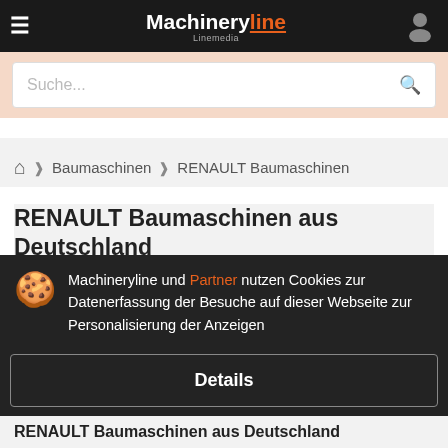Machineryline Linemedia
Suche...
Baumaschinen › RENAULT Baumaschinen
RENAULT Baumaschinen aus Deutschland
Machineryline und Partner nutzen Cookies zur Datenerfassung der Besuche auf dieser Webseite zur Personalisierung der Anzeigen
Details
Akzeptieren und schließen
RENAULT Baumaschinen aus Deutschland